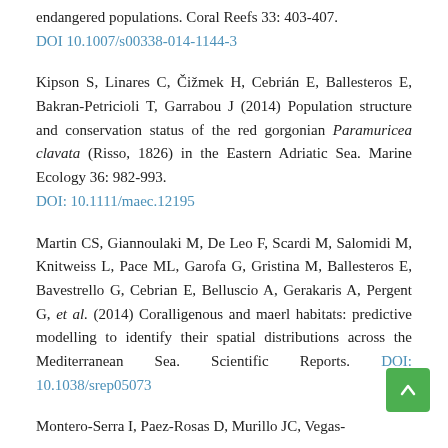endangered populations. Coral Reefs 33: 403-407. DOI 10.1007/s00338-014-1144-3
Kipson S, Linares C, Čižmek H, Cebrián E, Ballesteros E, Bakran-Petricioli T, Garrabou J (2014) Population structure and conservation status of the red gorgonian Paramuricea clavata (Risso, 1826) in the Eastern Adriatic Sea. Marine Ecology 36: 982-993. DOI: 10.1111/maec.12195
Martin CS, Giannoulaki M, De Leo F, Scardi M, Salomidi M, Knitweiss L, Pace ML, Garofa G, Gristina M, Ballesteros E, Bavestrello G, Cebrian E, Belluscio A, Gerakaris A, Pergent G, et al. (2014) Coralligenous and maerl habitats: predictive modelling to identify their spatial distributions across the Mediterranean Sea. Scientific Reports. DOI: 10.1038/srep05073
Montero-Serra I, Paez-Rosas D, Murillo JC, Vegas-